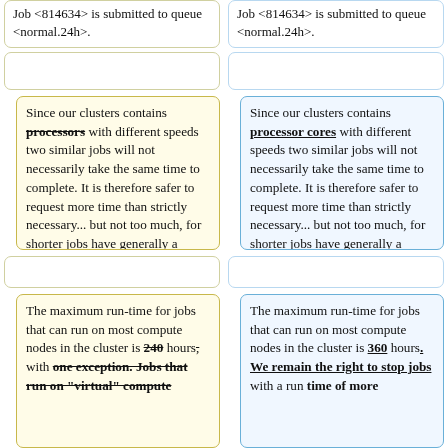Job <814634> is submitted to queue <normal.24h>.
Job <814634> is submitted to queue <normal.24h>.
Since our clusters contains processors (strikethrough) with different speeds two similar jobs will not necessarily take the same time to complete. It is therefore safer to request more time than strictly necessary... but not too much, for shorter jobs have generally a higher priority than longer ones.
Since our clusters contains processor cores (underlined bold) with different speeds two similar jobs will not necessarily take the same time to complete. It is therefore safer to request more time than strictly necessary... but not too much, for shorter jobs have generally a higher priority than longer ones.
The maximum run-time for jobs that can run on most compute nodes in the cluster is 240 (strikethrough) hours, with one exception. Jobs that run on "virtual" compute
The maximum run-time for jobs that can run on most compute nodes in the cluster is 360 hours. We remain the right to stop jobs with a run time of more